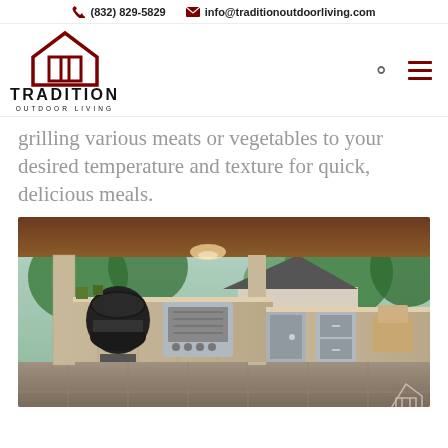(832) 829-5829   info@traditionoutdoorliving.com
[Figure (logo): Tradition Outdoor Living logo: red house/roof icon above text TRADITION OUTDOOR LIVING]
grilling various meats or vegetables to your desired temperature and texture for quick, delicious meals.
[Figure (photo): Outdoor kitchen under a covered patio with stone counters, a large black kamado grill, stainless steel built-in grill, refrigerator, and other appliances. House and green trees visible in background.]